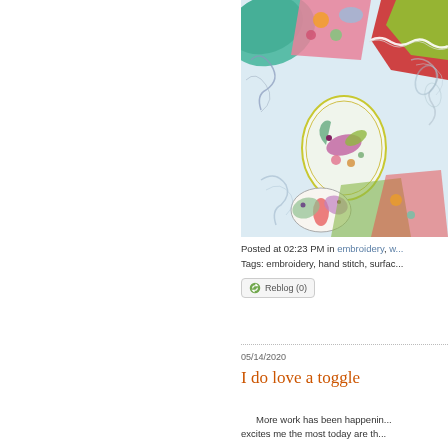[Figure (photo): Close-up photo of embroidery work on white fabric, showing colorful patterned fabric pieces, embroidered hummingbird in oval frame, and hand-stitched decorative elements]
Posted at 02:23 PM in embroidery, w...
Tags: embroidery, hand stitch, surfac...
Reblog (0)
05/14/2020
I do love a toggle
More work has been happenin... excites me the most today are th...